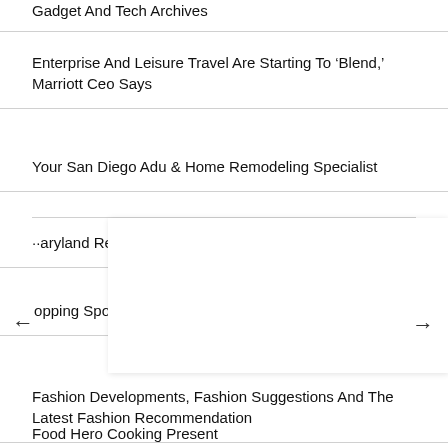Gadget And Tech Archives
Enterprise And Leisure Travel Are Starting To ‘Blend,’ Marriott Ceo Says
Your San Diego Adu & Home Remodeling Specialist
Maryland Real Estate Fee Mrec
hopping Sports
Fashion Developments, Fashion Suggestions And The Latest Fashion Recommendation
What’s The Distinction Between Business And Finance Levels
Food Hero Cooking Present